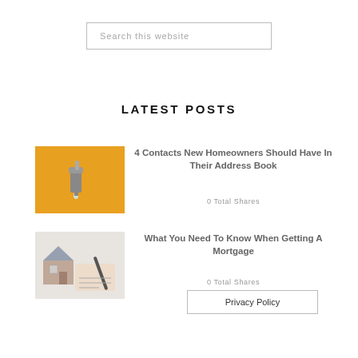Search this website
LATEST POSTS
[Figure (photo): A dripping faucet/tap against a yellow background]
4 Contacts New Homeowners Should Have In Their Address Book
0 Total Shares
[Figure (photo): A hand signing a document next to a model house]
What You Need To Know When Getting A Mortgage
0 Total Shares
Privacy Policy